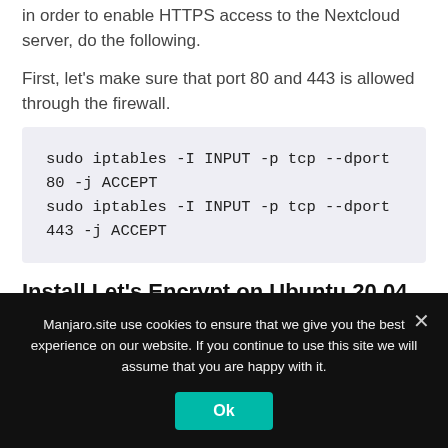in order to enable HTTPS access to the Nextcloud server, do the following.
First, let's make sure that port 80 and 443 is allowed through the firewall.
sudo iptables -I INPUT -p tcp --dport 80 -j ACCEPT
sudo iptables -I INPUT -p tcp --dport 443 -j ACCEPT
Install Let's Encrypt on Ubuntu 20.04
Manjaro.site use cookies to ensure that we give you the best experience on our website. If you continue to use this site we will assume that you are happy with it.